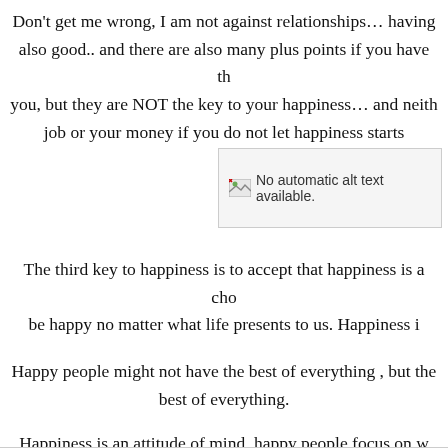Don't get me wrong, I am not against relationships… having also good.. and there are also many plus points if you have them with you, but they are NOT the key to your happiness… and neither is your job or your money if you do not let happiness starts
[Figure (photo): No automatic alt text available. Image placeholder with broken image icon.]
The third key to happiness is to accept that happiness is a choice we be happy no matter what life presents to us. Happiness i
Happy people might not have the best of everything , but the best of everything.
Happiness is an attitude of mind, happy people focus on w unhappy people focus on what's not ther